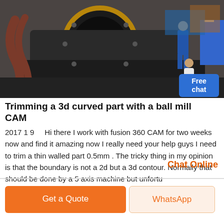[Figure (photo): Industrial photo showing a large ball mill or heavy machinery being serviced by workers in blue overalls, with a circular opening visible. One worker stands beside the machine.]
Trimming a 3d curved part with a ball mill CAM
2017 1 9     Hi there I work with fusion 360 CAM for two weeks now and find it amazing now I really need your help guys I need to trim a thin walled part 0.5mm . The tricky thing in my opinion is that the boundary is not a 2d but a 3d contour. Normally that should be done by a 5 axis machine but unfortu
Chat Online